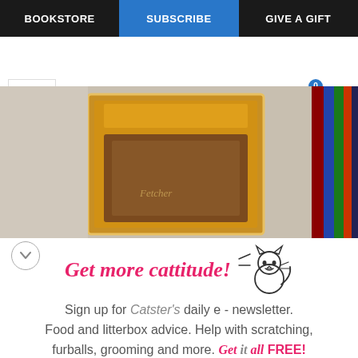BOOKSTORE | SUBSCRIBE | GIVE A GIFT
[Figure (screenshot): Website header with hamburger menu icon on left and cart (0 items) and search icon on right]
[Figure (photo): Close-up photo of a golden/copper colored object, possibly a treat or food item on a surface, with colored pencils visible on the right edge]
Get more cattitude!
Sign up for Catster's daily e - newsletter. Food and litterbox advice. Help with scratching, furballs, grooming and more. Get it all FREE!
Enter your Email
YES! SIGN ME UP